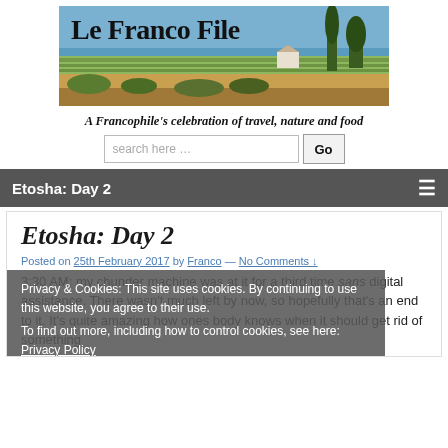[Figure (photo): Le Franco File blog banner image showing a vineyard and countryside scene with text 'Le Franco File']
A Francophile's celebration of travel, nature and food
search here …
Etosha: Day 2
Etosha: Day 2
Posted on 25th February 2017 by Franco — No Comments ↓
Privacy & Cookies: This site uses cookies. By continuing to use this website, you agree to their use. To find out more, including how to control cookies, see here: Privacy Policy
3:30 AM: my chunder machine was at it for a third time sans digital assistance. There wasn't much left by now, so hopefully that's an end to it. It's quite amazing how ones body knows when it should get rid of something